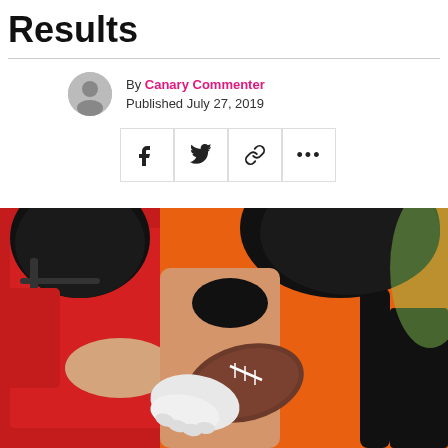Results
By Canary Commenter
Published July 27, 2019
[Figure (photo): Two American football players, one in orange and black jersey and one in red, competing for the ball during a game.]